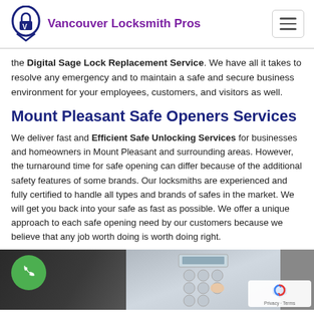Vancouver Locksmith Pros
the Digital Sage Lock Replacement Service. We have all it takes to resolve any emergency and to maintain a safe and secure business environment for your employees, customers, and visitors as well.
Mount Pleasant Safe Openers Services
We deliver fast and Efficient Safe Unlocking Services for businesses and homeowners in Mount Pleasant and surrounding areas. However, the turnaround time for safe opening can differ because of the additional safety features of some brands. Our locksmiths are experienced and fully certified to handle all types and brands of safes in the market. We will get you back into your safe as fast as possible. We offer a unique approach to each safe opening need by our customers because we believe that any job worth doing is worth doing right.
[Figure (photo): Photo of a person pressing buttons on a digital safe keypad, with a green phone button overlay in the bottom left and a reCAPTCHA badge in the bottom right corner.]